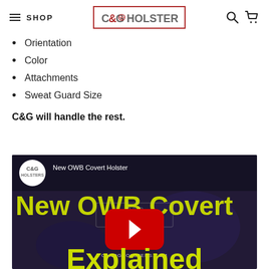SHOP | C&G HOLSTERS
Orientation
Color
Attachments
Sweat Guard Size
C&G will handle the rest.
[Figure (screenshot): YouTube video thumbnail for 'New OWB Covert Holster' by C&G Holsters. Dark background with large yellow text reading 'New OWB Covert' and 'Explained', a YouTube play button in the center, C&G Holsters watermark logo, and URL CANDGHOLSTERS.COM.]